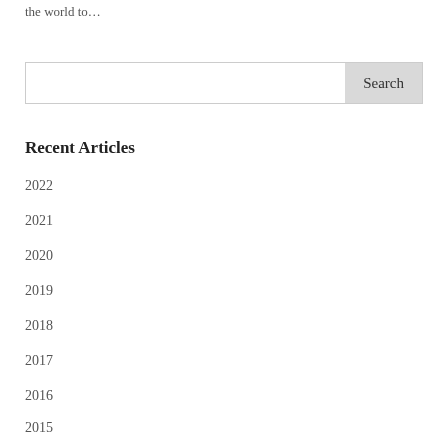the world to…
Recent Articles
2022
2021
2020
2019
2018
2017
2016
2015